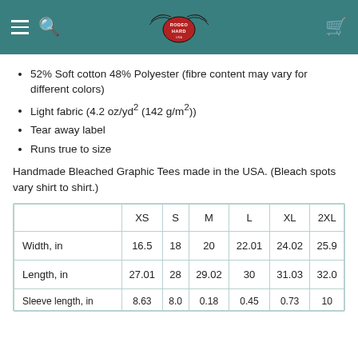Rodeo Hard
52% Soft cotton 48% Polyester (fibre content may vary for different colors)
Light fabric (4.2 oz/yd² (142 g/m²))
Tear away label
Runs true to size
Handmade Bleached Graphic Tees made in the USA. (Bleach spots vary shirt to shirt.)
|  | XS | S | M | L | XL | 2XL |
| --- | --- | --- | --- | --- | --- | --- |
| Width, in | 16.5 | 18 | 20 | 22.01 | 24.02 | 25.9 |
| Length, in | 27.01 | 28 | 29.02 | 30 | 31.03 | 32.0 |
| Sleeve length, in | 8.63 | 8.0 | 0.18 | 0.45 | 0.73 | 10 |